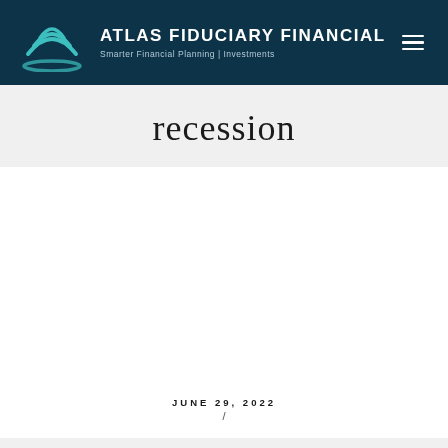ATLAS FIDUCIARY FINANCIAL — Smarter Financial Planning | Investments
recession
JUNE 29, 2022
/